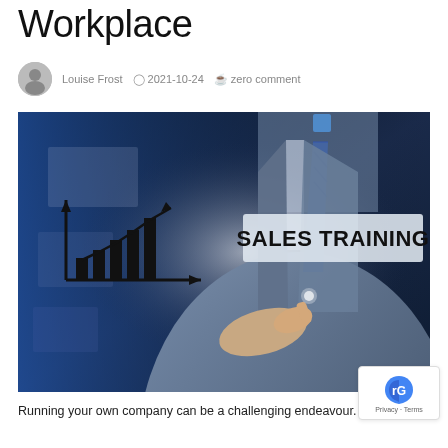Workplace
Louise Frost  2021-10-24  zero comment
[Figure (photo): A businessman in a suit pointing at a glowing 'SALES TRAINING' text label, with a bar chart icon showing upward growth on the left side, set against a dark blue futuristic background.]
Running your own company can be a challenging endeavour.